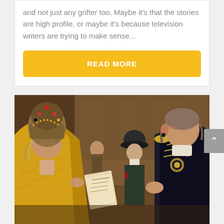and not just any grifter too. Maybe it's that the stories are high profile, or maybe it's because television writers are trying to make sense...
READ MORE
[Figure (photo): Period drama scene showing a woman in elaborate Russian imperial costume with ornate headdress in gold, facing a man in military dress uniform. Additional costumed figures visible in the background in a grand interior setting.]